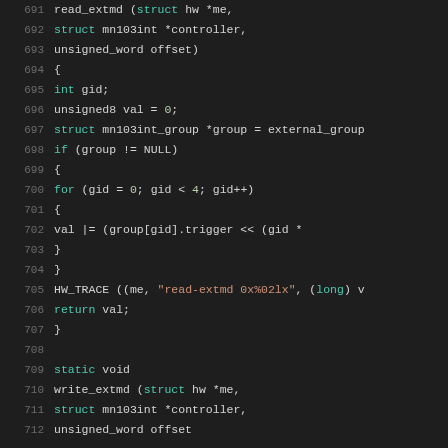Source code listing lines 691–712, C language, function read_extmd and start of write_extmd